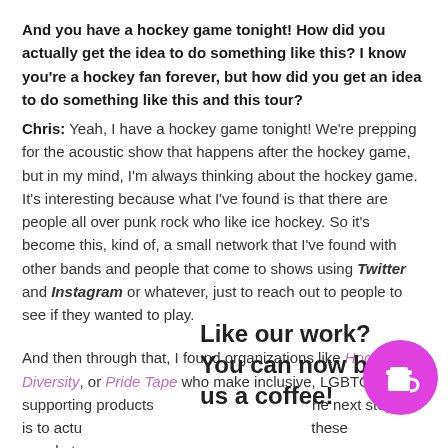And you have a hockey game tonight! How did you actually get the idea to do something like this? I know you're a hockey fan forever, but how did you get an idea to do something like this and this tour?
Chris: Yeah, I have a hockey game tonight! We're prepping for the acoustic show that happens after the hockey game, but in my mind, I'm always thinking about the hockey game. It's interesting because what I've found is that there are people all over punk rock who like ice hockey. So it's become this, kind of, a small network that I've found with other bands and people that come to shows using Twitter and Instagram or whatever, just to reach out to people to see if they wanted to play.
And then through that, I found organizations like Hockey is Diversity, or Pride Tape who make inclusive, LGBTQ+ supporting products [the next step is to actually get these people to [maybe] know us [has a] inclusivity in it, and is really doing some cool work to make it a
Like our work? You can now buy us a coffee!